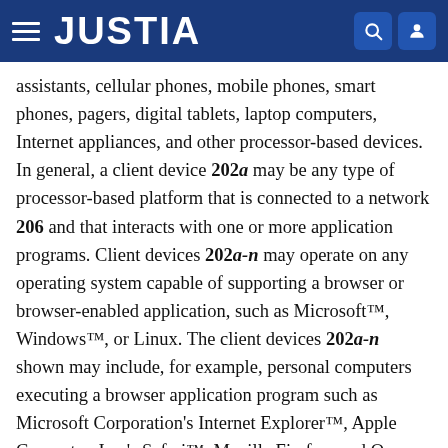JUSTIA
assistants, cellular phones, mobile phones, smart phones, pagers, digital tablets, laptop computers, Internet appliances, and other processor-based devices. In general, a client device 202a may be any type of processor-based platform that is connected to a network 206 and that interacts with one or more application programs. Client devices 202a-n may operate on any operating system capable of supporting a browser or browser-enabled application, such as Microsoft™, Windows™, or Linux. The client devices 202a-n shown may include, for example, personal computers executing a browser application program such as Microsoft Corporation's Internet Explorer™, Apple Computer, Inc.'s Safari™, Mozilla Firefox, and Opera. Through the client devices 202a-n, users, 212a-n communicate over the network 206 with each other and with other systems and devices coupled to the network